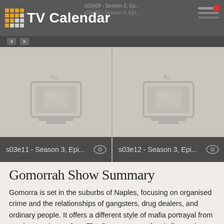TV Calendar
[Figure (screenshot): Two TV episode cards side by side: s03e11 - Season 3, Epi... and s03e12 - Season 3, Epi..., each with a placeholder television icon and an eye/watched icon]
Gomorrah Show Summary
Gomorra is set in the suburbs of Naples, focusing on organised crime and the relationships of gangsters, drug dealers, and ordinary people. It offers a different style of mafia portrayal from previous series such as The Sopranos, or other Italian series like Il Capo dei Capi. Gomorra is similar to The Wire in showing street-level crime and its hierarchical organisation from the pavement up to the office chair, and giving an audience a story about